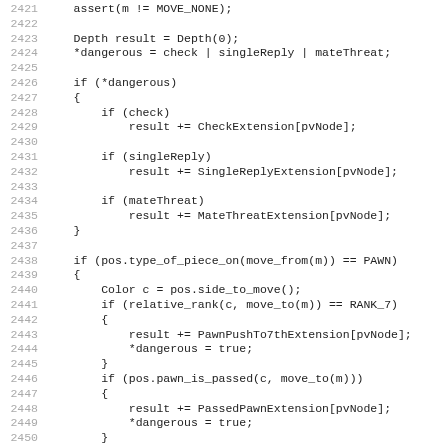[Figure (screenshot): Source code listing in monospace font showing C++ chess engine code, lines 2421-2452+, with line numbers in gray and code text in dark color. The code shows depth extension logic for check, singleReply, mateThreat, pawn push to 7th rank, and passed pawn conditions.]